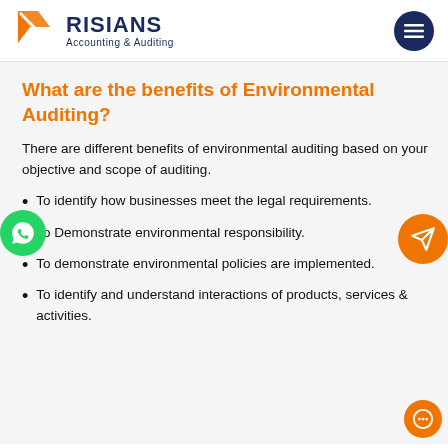RISIANS Accounting & Auditing
What are the benefits of Environmental Auditing?
There are different benefits of environmental auditing based on your objective and scope of auditing.
To identify how businesses meet the legal requirements.
To Demonstrate environmental responsibility.
To demonstrate environmental policies are implemented.
To identify and understand interactions of products, services & activities.